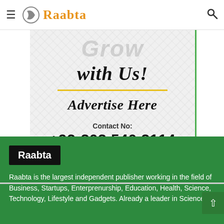Raabta
[Figure (infographic): Advertisement banner reading 'Grow with Us! Advertise Here' with contact number +92-303 540 3114, on a textured light grey background with a green right border.]
Raabta
Raabta is the largest independent publisher working in the field of Business, Startups, Enterprenurship, Education, Health, Science, Technology, Lifestyle and Gadgets. Already a leader in Science &